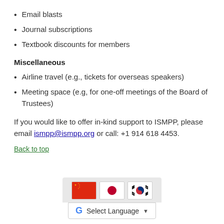Email blasts
Journal subscriptions
Textbook discounts for members
Miscellaneous
Airline travel (e.g., tickets for overseas speakers)
Meeting space (e.g, for one-off meetings of the Board of Trustees)
If you would like to offer in-kind support to ISMPP, please email ismpp@ismpp.org or call: +1 914 618 4453.
Back to top
[Figure (screenshot): Google Translate widget with Chinese, Japanese, and Korean flags and a Select Language dropdown]